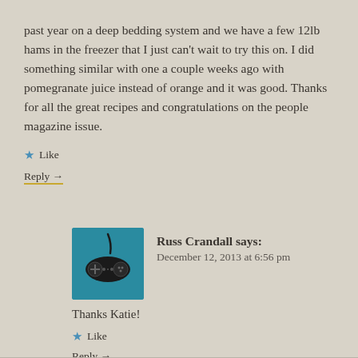past year on a deep bedding system and we have a few 12lb hams in the freezer that I just can’t wait to try this on. I did something similar with one a couple weeks ago with pomegranate juice instead of orange and it was good. Thanks for all the great recipes and congratulations on the people magazine issue.
★ Like
Reply →
[Figure (illustration): Teal/blue square avatar with a video game controller icon (classic gamepad with circular buttons and a cord)]
Russ Crandall says: December 12, 2013 at 6:56 pm
Thanks Katie!
★ Like
Reply →